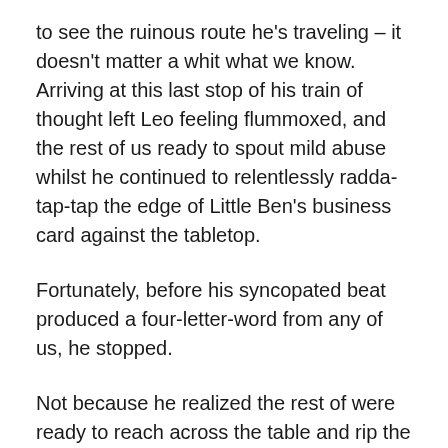to see the ruinous route he's traveling – it doesn't matter a whit what we know. Arriving at this last stop of his train of thought left Leo feeling flummoxed, and the rest of us ready to spout mild abuse whilst he continued to relentlessly radda-tap-tap the edge of Little Ben's business card against the tabletop.
Fortunately, before his syncopated beat produced a four-letter-word from any of us, he stopped.
Not because he realized the rest of were ready to reach across the table and rip the card from his fingers. But on account of the theory, Beatrice and I gave regarding the Stradivarius violin.
This was an angle we could work, which might actually work...